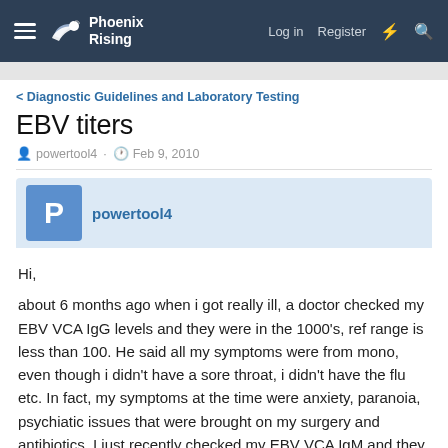Phoenix Rising — Log in   Register
Diagnostic Guidelines and Laboratory Testing
EBV titers
powertool4 · Feb 9, 2010
powertool4
Hi,

about 6 months ago when i got really ill, a doctor checked my EBV VCA IgG levels and they were in the 1000's, ref range is less than 100. He said all my symptoms were from mono, even though i didn't have a sore throat, i didn't have the flu etc. In fact, my symptoms at the time were anxiety, paranoia, psychiatic issues that were brought on my surgery and antibiotics. I just recently checked my EBV VCA IgM and they